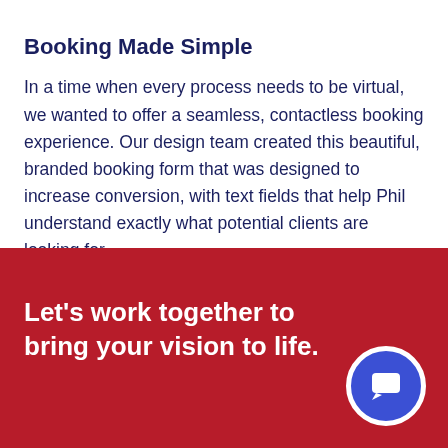Booking Made Simple
In a time when every process needs to be virtual, we wanted to offer a seamless, contactless booking experience. Our design team created this beautiful, branded booking form that was designed to increase conversion, with text fields that help Phil understand exactly what potential clients are looking for.
Let's work together to bring your vision to life.
[Figure (illustration): Blue circular chat button with speech bubble icon, white border, on red background]